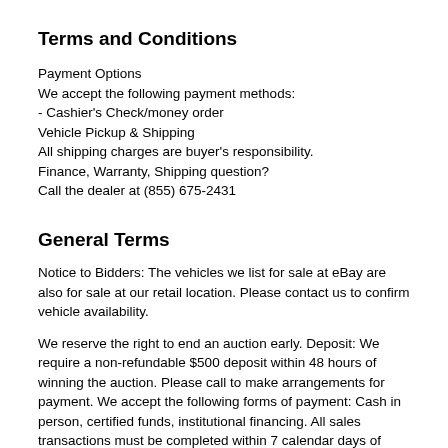Terms and Conditions
Payment Options
We accept the following payment methods:
- Cashier's Check/money order
Vehicle Pickup & Shipping
All shipping charges are buyer's responsibility.
Finance, Warranty, Shipping question?
Call the dealer at (855) 675-2431
General Terms
Notice to Bidders: The vehicles we list for sale at eBay are also for sale at our retail location. Please contact us to confirm vehicle availability.
We reserve the right to end an auction early. Deposit: We require a non-refundable $500 deposit within 48 hours of winning the auction. Please call to make arrangements for payment. We accept the following forms of payment: Cash in person, certified funds, institutional financing. All sales transactions must be completed within 7 calendar days of auction close.
Prices are subject to change without notice. Although every effort is made to present accurate and reliable vehicle information, use of this information is voluntary, and should only be deemed reliable after an independent review of its accuracy, completeness, and timeliness. It is the sole responsibility of